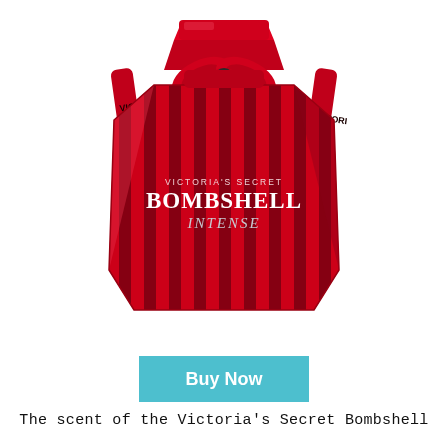[Figure (photo): Victoria's Secret Bombshell Intense perfume bottle — a large faceted gem-shaped red bottle with dark vertical stripes, decorated with a red ribbon and bow tied around the neck. The bottle label reads 'VICTORIA'S SECRET BOMBSHELL INTENSE'. The background is white.]
Buy Now
The scent of the Victoria's Secret Bombshell